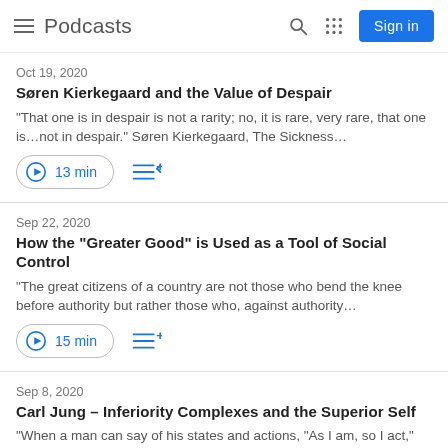Podcasts
Oct 19, 2020
Søren Kierkegaard and the Value of Despair
"That one is in despair is not a rarity; no, it is rare, very rare, that one is...not in despair." Søren Kierkegaard, The Sickness...
13 min
Sep 22, 2020
How the "Greater Good" is Used as a Tool of Social Control
"The great citizens of a country are not those who bend the knee before authority but rather those who, against authority...
15 min
Sep 8, 2020
Carl Jung – Inferiority Complexes and the Superior Self
"When a man can say of his states and actions, "As I am, so I act," he can be at one with himself... and he can accept...